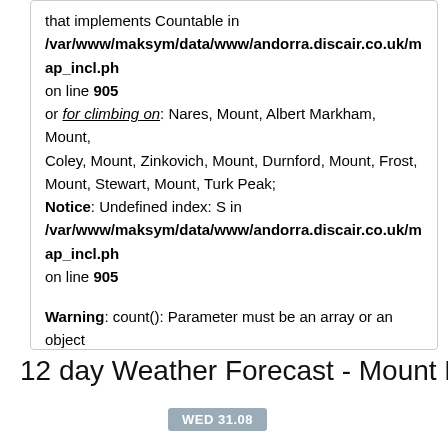that implements Countable in /var/www/maksym/data/www/andorra.discair.co.uk/map_incl.ph on line 905 or for climbing on: Nares, Mount, Albert Markham, Mount, Coley, Mount, Zinkovich, Mount, Durnford, Mount, Frost, Mount, Stewart, Mount, Turk Peak; Notice: Undefined index: S in /var/www/maksym/data/www/andorra.discair.co.uk/map_incl.ph on line 905

Warning: count(): Parameter must be an array or an object that implements Countable in /var/www/maksym/data/www/andorra.discair.co.uk/map_incl.ph on line 905
Other names: Frost, Mount, Frost Mount.
12 day Weather Forecast - Mount Frost, Mount
WED 31.08